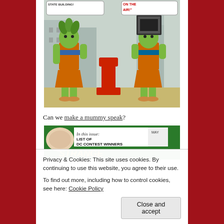[Figure (illustration): Comic book style illustration showing two green alien/mummy figures in orange skirts and blue belts, standing near a red fire hydrant on a city street. Speech bubbles at top read 'STATE BUILDING!' and 'ON THE AIR!']
Can we make a mummy speak?
[Figure (illustration): Comic book cover partially visible: 'In this issue: LIST OF DC CONTEST WINNERS', 'STRANGE' text visible at bottom, with MAY date]
Privacy & Cookies: This site uses cookies. By continuing to use this website, you agree to their use.
To find out more, including how to control cookies, see here: Cookie Policy
Close and accept